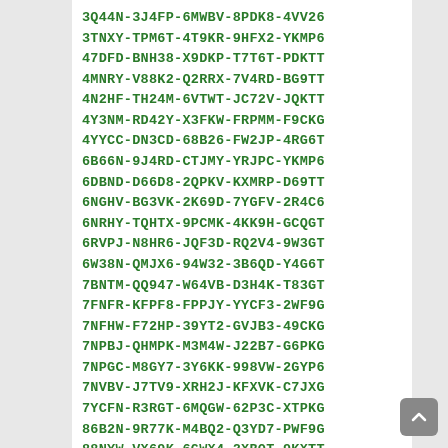3Q44N-3J4FP-6MWBV-8PDK8-4VV26
3TNXY-TPM6T-4T9KR-9HFX2-YKMP6
47DFD-BNH38-X9DKP-T7T6T-PDKTT
4MNRY-V88K2-Q2RRX-7V4RD-BG9TT
4N2HF-TH24M-6VTWT-JC72V-JQKTT
4Y3NM-RD42Y-X3FKW-FRPMM-F9CKG
4YYCC-DN3CD-68B26-FW2JP-4RG6T
6B66N-9J4RD-CTJMY-YRJPC-YKMP6
6DBND-D66D8-2QPKV-KXMRP-D69TT
6NGHV-BG3VK-2K69D-7YGFV-2R4C6
6NRHY-TQHTX-9PCMK-4KK9H-GCQGT
6RVPJ-N8HR6-JQF3D-RQ2V4-9W3GT
6W38N-QMJX6-94W32-3B6QD-Y4G6T
7BNTM-QQ947-W64VB-D3H4K-T83GT
7FNFR-KFPF8-FPPJY-YYCF3-2WF9G
7NFHW-F72HP-39YT2-GVJB3-49CKG
7NPBJ-QHMPK-M3M4W-J22B7-G6PKG
7NPGC-M8GY7-3Y6KK-998VW-2GYP6
7NVBV-J7TV9-XRH2J-KFXVK-C7JXG
7YCFN-R3RGT-6MQGW-62P3C-XTPKG
86B2N-9R77K-M4BQ2-Q3YD7-PWF9G
88NYW-VX69K-6GWX4-2XBQT-9KXTT